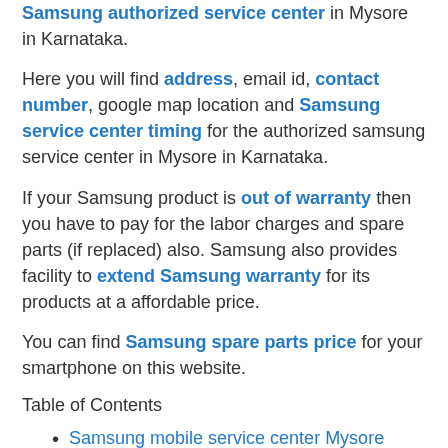Samsung authorized service center in Mysore in Karnataka.
Here you will find address, email id, contact number, google map location and Samsung service center timing for the authorized samsung service center in Mysore in Karnataka.
If your Samsung product is out of warranty then you have to pay for the labor charges and spare parts (if replaced) also. Samsung also provides facility to extend Samsung warranty for its products at a affordable price.
You can find Samsung spare parts price for your smartphone on this website.
Table of Contents
Samsung mobile service center Mysore
Samsung service center Mysore